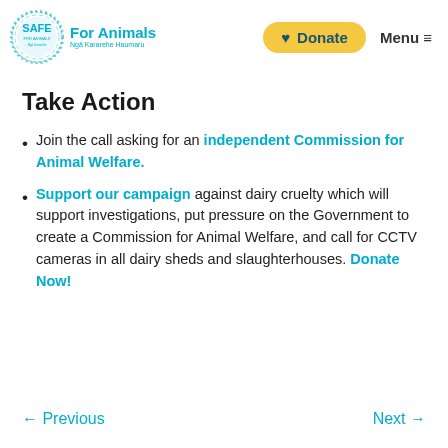[Figure (logo): SAFE For Animals logo with circular teal sketched design and text 'For Animals / Ngā Kararehe Haumaru']
Take Action
Join the call asking for an independent Commission for Animal Welfare.
Support our campaign against dairy cruelty which will support investigations, put pressure on the Government to create a Commission for Animal Welfare, and call for CCTV cameras in all dairy sheds and slaughterhouses. Donate Now!
← Previous    Next →